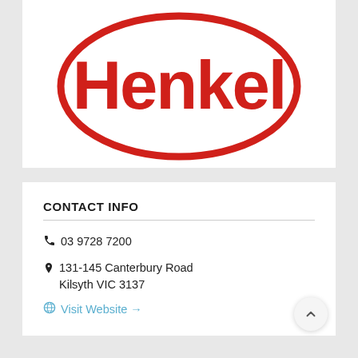[Figure (logo): Henkel logo: red oval/ellipse outline with bold red 'Henkel' text inside on white background]
CONTACT INFO
03 9728 7200
131-145 Canterbury Road Kilsyth VIC 3137
Visit Website →